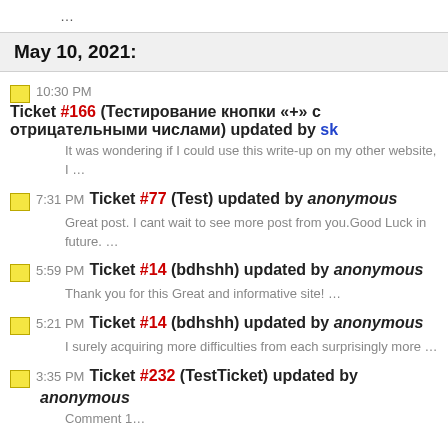…
May 10, 2021:
10:30 PM Ticket #166 (Тестирование кнопки «+» с отрицательными числами) updated by sk — It was wondering if I could use this write-up on my other website, I …
7:31 PM Ticket #77 (Test) updated by anonymous — Great post. I cant wait to see more post from you.Good Luck in future. …
5:59 PM Ticket #14 (bdhshh) updated by anonymous — Thank you for this Great and informative site! …
5:21 PM Ticket #14 (bdhshh) updated by anonymous — I surely acquiring more difficulties from each surprisingly more …
3:35 PM Ticket #232 (TestTicket) updated by anonymous — Comment 1…